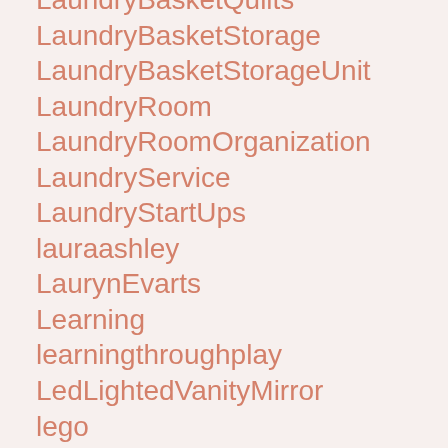LaundryBasketQuilts
LaundryBasketStorage
LaundryBasketStorageUnit
LaundryRoom
LaundryRoomOrganization
LaundryService
LaundryStartUps
lauraashley
LaurynEvarts
Learning
learningthroughplay
LedLightedVanityMirror
lego
legocollection
legominifigures